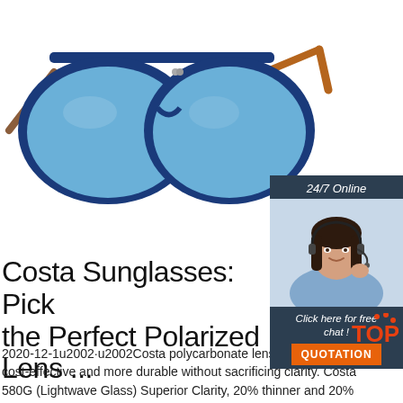[Figure (photo): Blue aviator sunglasses with tortoise shell arms on white background]
[Figure (infographic): Chat widget: 24/7 Online label, photo of female customer service agent with headset, 'Click here for free chat!' text, orange QUOTATION button]
Costa Sunglasses: Pick the Perfect Polarized Lens ...
[Figure (logo): TOP logo in orange with red dots]
2020-12-1u2002·u2002Costa polycarbonate lenses are both, more cost-effective and more durable without sacrificing clarity. Costa 580G (Lightwave Glass) Superior Clarity, 20% thinner and 20% lighter than